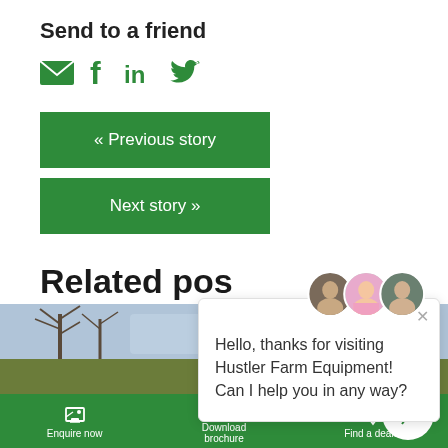Send to a friend
[Figure (infographic): Social share icons: email envelope, Facebook f, LinkedIn in, Twitter bird — all in green]
« Previous story
Next story »
Related pos
[Figure (photo): Outdoor photo showing farm equipment and bare trees]
[Figure (screenshot): Chat popup with three avatars. Message: Hello, thanks for visiting Hustler Farm Equipment! Can I help you in any way?]
Hello, thanks for visiting Hustler Farm Equipment! Can I help you in any way?
Enquire now | Download brochure | Find a dealer